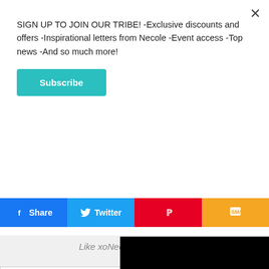SIGN UP TO JOIN OUR TRIBE! -Exclusive discounts and offers -Inspirational letters from Necole -Event access -Top news -And so much more!
Subscribe
Share
Twitter
[Figure (screenshot): Pinterest share button (red)]
[Figure (screenshot): SMS share button (orange)]
Like xoNecole on Facebook
Email Address
[Figure (screenshot): Black video player with play button]
Aaliyah Syd
Aaliyah Sydoni
[Figure (screenshot): Ulta Beauty advertisement: The Destination For All of Your Beauty Needs]